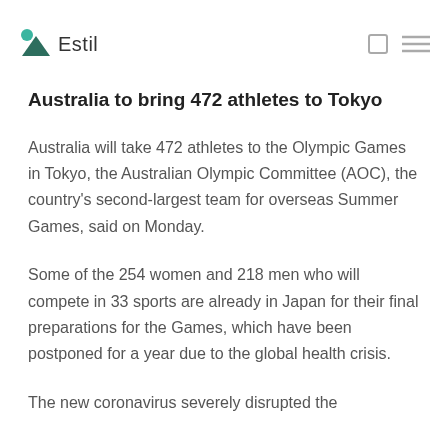Estil
Australia to bring 472 athletes to Tokyo
Australia will take 472 athletes to the Olympic Games in Tokyo, the Australian Olympic Committee (AOC), the country's second-largest team for overseas Summer Games, said on Monday.
Some of the 254 women and 218 men who will compete in 33 sports are already in Japan for their final preparations for the Games, which have been postponed for a year due to the global health crisis.
The new coronavirus severely disrupted the qualifications and the preparations of Australia…